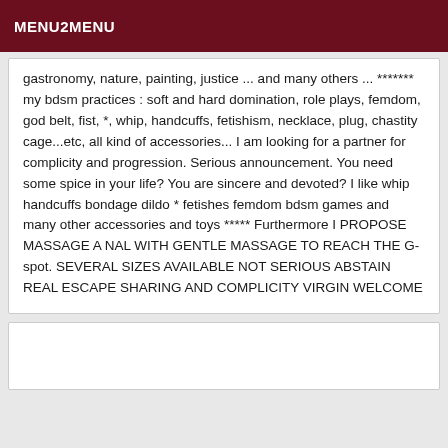MENU2MENU
gastronomy, nature, painting, justice ... and many others ... ******* my bdsm practices : soft and hard domination, role plays, femdom, god belt, fist, *, whip, handcuffs, fetishism, necklace, plug, chastity cage...etc, all kind of accessories... I am looking for a partner for complicity and progression. Serious announcement. You need some spice in your life? You are sincere and devoted? I like whip handcuffs bondage dildo * fetishes femdom bdsm games and many other accessories and toys ***** Furthermore I PROPOSE MASSAGE A NAL WITH GENTLE MASSAGE TO REACH THE G-spot. SEVERAL SIZES AVAILABLE NOT SERIOUS ABSTAIN REAL ESCAPE SHARING AND COMPLICITY VIRGIN WELCOME